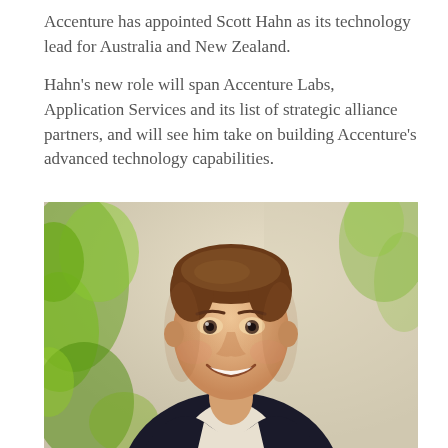Accenture has appointed Scott Hahn as its technology lead for Australia and New Zealand.

Hahn's new role will span Accenture Labs, Application Services and its list of strategic alliance partners, and will see him take on building Accenture's advanced technology capabilities.
[Figure (photo): Professional headshot of Scott Hahn, a man in a dark suit jacket and white shirt, smiling, with blurred green plants and a light background.]